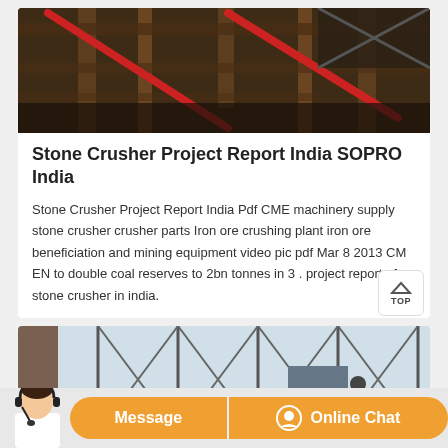[Figure (photo): Photo of stone crusher machinery with red cross-bars and metal framework in a dark industrial setting]
Stone Crusher Project Report India SOPRO India
Stone Crusher Project Report India Pdf CME machinery supply stone crusher crusher parts Iron ore crushing plant iron ore beneficiation and mining equipment video pic pdf Mar 8 2013 CM EN to double coal reserves to 2bn tonnes in 3 . project report of stone crusher in india.
[Figure (photo): Photo of scaffolding or steel framework structure against a sky background with a person visible]
Message
Online Chat